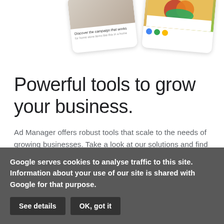[Figure (screenshot): Two rounded card-style UI components partially visible at the top of the page — left card shows a room/interior image with small text 'Discover the campaign that works', right card shows a food/recipe image with colorful dots below it.]
Powerful tools to grow your business.
Ad Manager offers robust tools that scale to the needs of growing businesses. Take a look at our solutions and find the right fit for you.
Learn more
Google serves cookies to analyse traffic to this site. Information about your use of our site is shared with Google for that purpose. See details OK, got it